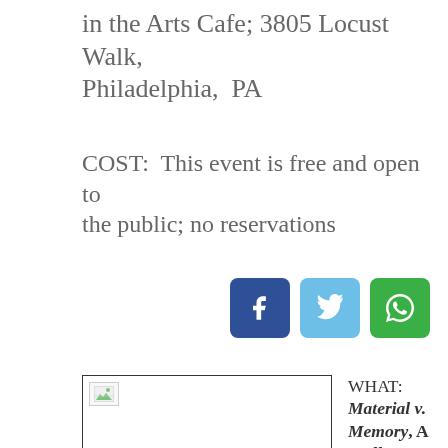in the Arts Cafe; 3805 Locust Walk, Philadelphia,  PA
COST:  This event is free and open to the public; no reservations
[Figure (other): Social media share buttons: Facebook (dark blue), Twitter (light blue), WhatsApp (green)]
[Figure (photo): Image placeholder with broken image icon]
WHAT:  Material v. Memory, A Walk Through 11 Perishable Events
WHEN: Tuesday 9/28/10 at 6:34pm sharp (early start